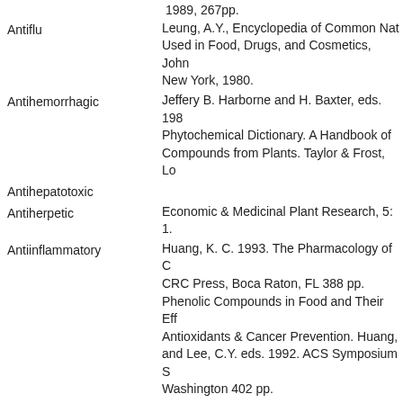1989, 267pp.
Antiflu
Leung, A.Y., Encyclopedia of Common Natural Ingredients Used in Food, Drugs, and Cosmetics, John Wiley & Sons, New York, 1980.
Antihemorrhagic
Jeffery B. Harborne and H. Baxter, eds. 1983. Phytochemical Dictionary. A Handbook of Bioactive Compounds from Plants. Taylor & Frost, London.
Antihepatotoxic
Antiherpetic
Economic & Medicinal Plant Research, 5: 1.
Antiinflammatory
Huang, K. C. 1993. The Pharmacology of Chinese Herbs. CRC Press, Boca Raton, FL 388 pp.
Phenolic Compounds in Food and Their Effects on Health. Antioxidants & Cancer Prevention. Huang, M.T., Ho, C.T. and Lee, C.Y. eds. 1992. ACS Symposium Series, Washington 402 pp.
Antimutagenic ID50=2-5 nM
Antioxidant IC50=120 uM
Antipurpuric
Antispasmodic
Antistaphylococcic 0.41%
Antithrombogenic
Antitumor